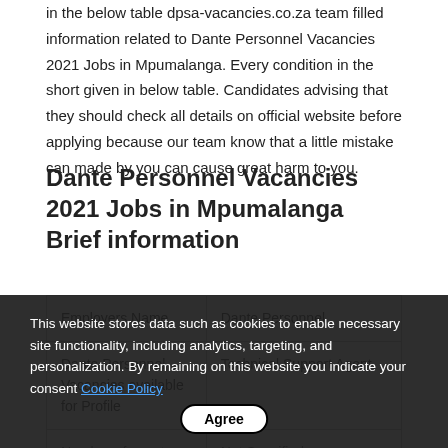in the below table dpsa-vacancies.co.za team filled information related to Dante Personnel Vacancies 2021 Jobs in Mpumalanga. Every condition in the short given in below table. Candidates advising that they should check all details on official website before applying because our team know that a little mistake can made by you can cause great harm to you.
Dante Personnel Vacancies 2021 Jobs in Mpumalanga Brief information
| Employers Name | Dante Personnel |
| Dante Personnel Vacancies available for Profile | Technical Support Agent |
| Number of count Posts | Not Specified |
| Qualification Requirement for | • @Candidates who have @
• @/@Candidates |